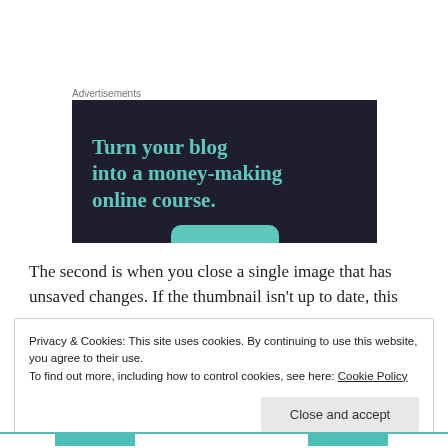Advertisements
[Figure (infographic): Dark advertisement banner with teal text reading 'Turn your blog into a money-making online course.' with a teal button at the bottom.]
The second is when you close a single image that has unsaved changes. If the thumbnail isn’t up to date, this
Privacy & Cookies: This site uses cookies. By continuing to use this website, you agree to their use.
To find out more, including how to control cookies, see here: Cookie Policy
Close and accept